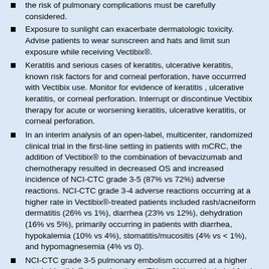the risk of pulmonary complications must be carefully considered.
Exposure to sunlight can exacerbate dermatologic toxicity. Advise patients to wear sunscreen and hats and limit sun exposure while receiving Vectibix®.
Keratitis and serious cases of keratitis, ulcerative keratitis, known risk factors for and corneal perforation, have occurrred with Vectibix use. Monitor for evidence of keratitis , ulcerative keratitis, or corneal perforation. Interrupt or discontinue Vectibix therapy for acute or worsening keratitis, ulcerative keratitis, or corneal perforation.
In an interim analysis of an open-label, multicenter, randomized clinical trial in the first-line setting in patients with mCRC, the addition of Vectibix® to the combination of bevacizumab and chemotherapy resulted in decreased OS and increased incidence of NCI-CTC grade 3-5 (87% vs 72%) adverse reactions. NCI-CTC grade 3-4 adverse reactions occurring at a higher rate in Vectibix®-treated patients included rash/acneiform dermatitis (26% vs 1%), diarrhea (23% vs 12%), dehydration (16% vs 5%), primarily occurring in patients with diarrhea, hypokalemia (10% vs 4%), stomatitis/mucositis (4% vs < 1%), and hypomagnesemia (4% vs 0).
NCI-CTC grade 3-5 pulmonary embolism occurred at a higher rate in Vectibix®-treated patients (7% vs 3%) and included fatal events in three (< 1%) Vectibix®-treated patients. As a result of the toxicities experienced, patients randomized to Vectibix®,